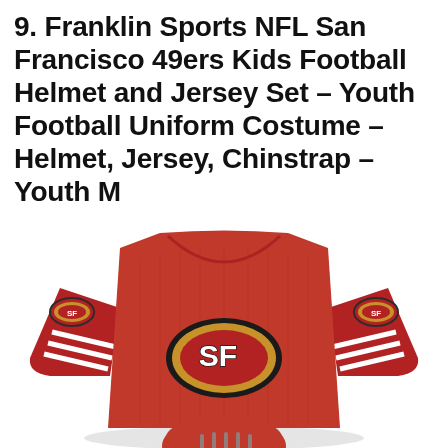9. Franklin Sports NFL San Francisco 49ers Kids Football Helmet and Jersey Set – Youth Football Uniform Costume – Helmet, Jersey, Chinstrap – Youth M
[Figure (photo): Photo of a red San Francisco 49ers kids football jersey with white stripes on sleeves and the SF 49ers oval logo on the chest, with a football helmet partially visible at the bottom.]